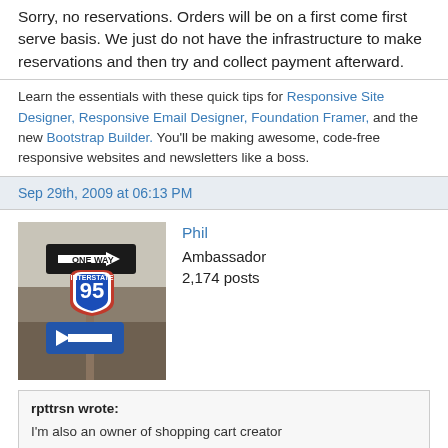Sorry, no reservations. Orders will be on a first come first serve basis. We just do not have the infrastructure to make reservations and then try and collect payment afterward.
Learn the essentials with these quick tips for Responsive Site Designer, Responsive Email Designer, Foundation Framer, and the new Bootstrap Builder. You'll be making awesome, code-free responsive websites and newsletters like a boss.
Sep 29th, 2009 at 06:13 PM
[Figure (photo): Photo of road signs: ONE WAY sign and Interstate 95 shield with a blue directional arrow sign below, against a bare winter tree background.]
Phil
Ambassador
2,174 posts
rpttrsn wrote:
I'm also an owner of shopping cart creator